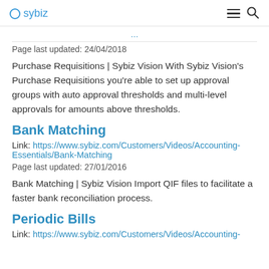sybiz
Page last updated: 24/04/2018
Purchase Requisitions | Sybiz Vision With Sybiz Vision's Purchase Requisitions you're able to set up approval groups with auto approval thresholds and multi-level approvals for amounts above thresholds.
Bank Matching
Link: https://www.sybiz.com/Customers/Videos/Accounting-Essentials/Bank-Matching
Page last updated: 27/01/2016
Bank Matching | Sybiz Vision Import QIF files to facilitate a faster bank reconciliation process.
Periodic Bills
Link: https://www.sybiz.com/Customers/Videos/Accounting-